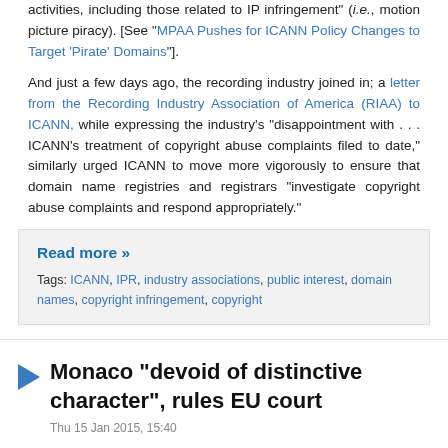activities, including those related to IP infringement (i.e., motion picture piracy). [See "MPAA Pushes for ICANN Policy Changes to Target 'Pirate' Domains"].
And just a few days ago, the recording industry joined in; a letter from the Recording Industry Association of America (RIAA) to ICANN, while expressing the industry's “disappointment with . . . ICANN’s treatment of copyright abuse complaints filed to date,” similarly urged ICANN to move more vigorously to ensure that domain name registries and registrars “investigate copyright abuse complaints and respond appropriately.”
Read more »
Tags: ICANN, IPR, industry associations, public interest, domain names, copyright infringement, copyright
Monaco "devoid of distinctive character", rules EU court
Thu 15 Jan 2015, 15:40